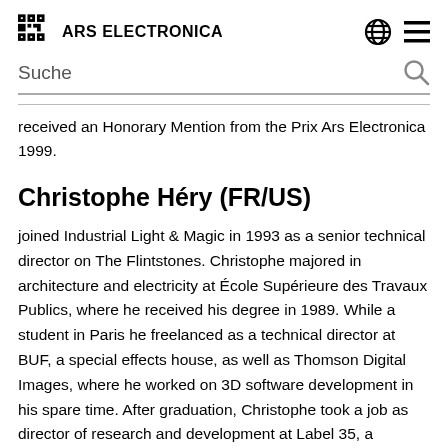ARS ELECTRONICA
received an Honorary Mention from the Prix Ars Electronica 1999.
Christophe Héry (FR/US)
joined Industrial Light & Magic in 1993 as a senior technical director on The Flintstones. Christophe majored in architecture and electricity at École Supérieure des Travaux Publics, where he received his degree in 1989. While a student in Paris he freelanced as a technical director at BUF, a special effects house, as well as Thomson Digital Images, where he worked on 3D software development in his spare time. After graduation, Christophe took a job as director of research and development at Label 35, a Parisian